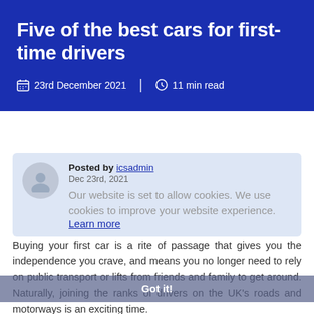Five of the best cars for first-time drivers
23rd December 2021  |  11 min read
Posted by icsadmin
Dec 23rd, 2021
Our website is set to allow cookies. We use cookies to improve your website experience.
Learn more
Buying your first car is a rite of passage that gives you the independence you crave, and means you no longer need to rely on public transport or lifts from friends and family to get around. Naturally, joining the ranks of drivers on the UK's roads and motorways is an exciting time.
Got it!